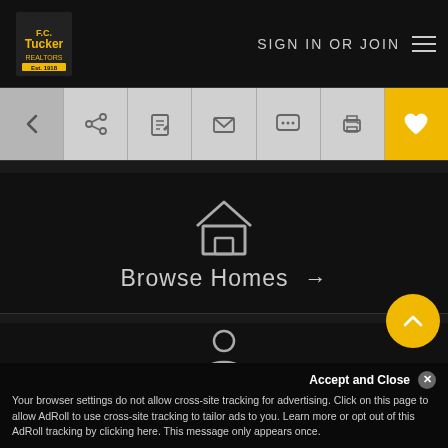[Figure (screenshot): F.C. Tucker real estate website screenshot showing navigation header with logo, SIGN IN OR JOIN text, hamburger menu, toolbar with back/share/edit/email/chat/print/favorite icons, Browse Homes section with house icon and arrow, Find an Agent section with agent icon and arrow, scroll-to-top button, and cookie consent banner]
SIGN IN OR JOIN
Browse Homes →
Find an Agent →
Accept and Close ✕
Your browser settings do not allow cross-site tracking for advertising. Click on this page to allow AdRoll to use cross-site tracking to tailor ads to you. Learn more or opt out of this AdRoll tracking by clicking here. This message only appears once.